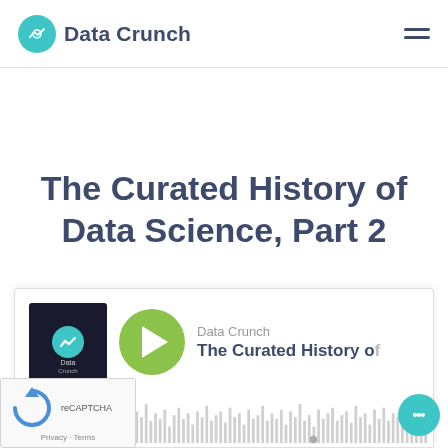Data Crunch
The Curated History of Data Science, Part 2
[Figure (screenshot): Podcast audio player widget showing Data Crunch podcast episode 'The Curated History of' with green play button, album art, and waveform visualization at the bottom]
[Figure (other): reCAPTCHA verification box overlay with Google reCAPTCHA logo and Privacy/Terms links]